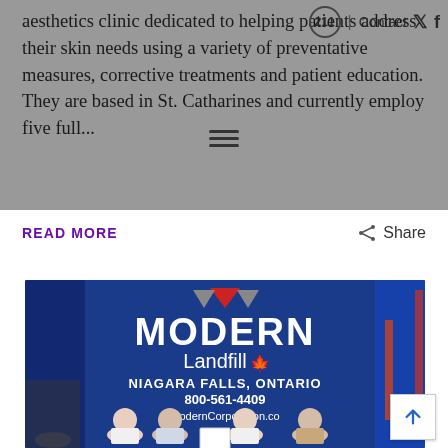211 | Contact
aesthetics clinic dedicated to helping patients address their skin needs using a variety of preventative measures, corrective treatments and patient education. They are based in St. Catharines and currently employ five full...
READ MORE
Share
[Figure (photo): Four people standing in front of a blue Modern Landfill truck. The truck reads: MODERN Landfill, NIAGARA FALLS, ONTARIO, 800-561-4409, ModernCorporation.com. One person is holding a framed certificate/award.]